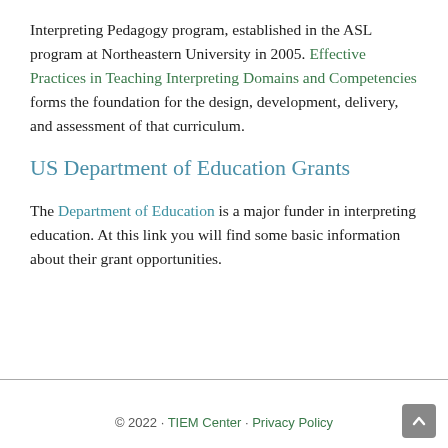Interpreting Pedagogy program, established in the ASL program at Northeastern University in 2005. Effective Practices in Teaching Interpreting Domains and Competencies forms the foundation for the design, development, delivery, and assessment of that curriculum.
US Department of Education Grants
The Department of Education is a major funder in interpreting education. At this link you will find some basic information about their grant opportunities.
© 2022 · TIEM Center · Privacy Policy